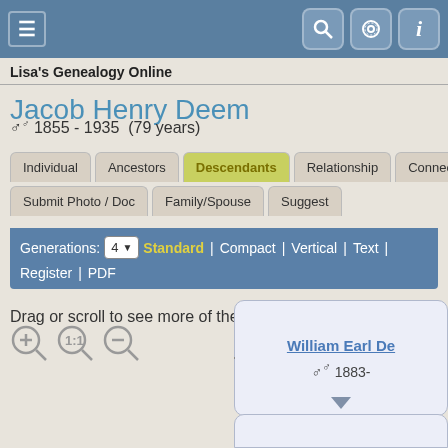Lisa's Genealogy Online
Jacob Henry Deem
♂ 1855 - 1935  (79 years)
Individual | Ancestors | Descendants | Relationship | Connections | Timeline | Submit Photo / Doc | Family/Spouse | Suggest
Generations: 4  Standard | Compact | Vertical | Text | Register | PDF
Drag or scroll to see more of the chart.
[Figure (screenshot): Zoom in, reset, and zoom out magnifier icon buttons]
[Figure (other): Partial genealogy descendant chart showing person card for William Earl De (1883-) with connector lines and partial second card below]